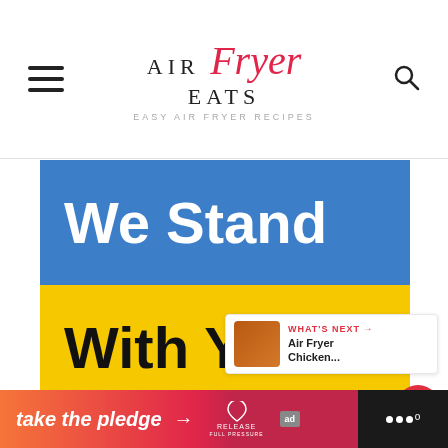AIR Fryer EATS — Easy Air Fryer Recipes
[Figure (illustration): Ukrainian flag colors split horizontally — blue top half with white bold text 'We Stand', yellow bottom half with black bold text 'With You']
WHAT'S NEXT → Air Fryer Chicken...
[Figure (infographic): Advertisement banner: 'take the pledge →' in italic white text on gradient orange-to-red background, with Release logo and ad badge, dark section on right with dot menu]